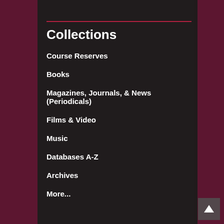Collections
Course Reserves
Books
Magazines, Journals, & News (Periodicals)
Films & Video
Music
Databases A-Z
Archives
More...